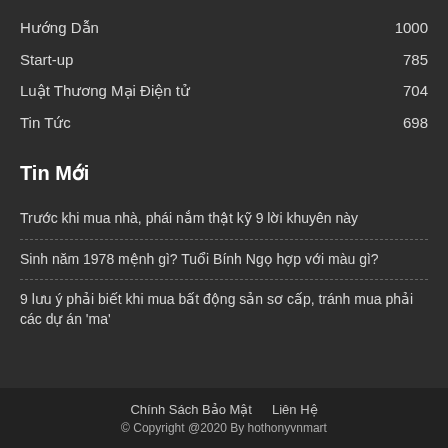Hướng Dẫn  1000
Start-up  785
Luật Thương Mại Điện tử  704
Tin Tức  698
Tin Mới
Trước khi mua nhà, phái nắm thật kỹ 9 lời khuyên này
Sinh năm 1978 mệnh gì? Tuổi Bính Ngọ hợp với màu gì?
9 lưu ý phải biết khi mua bất động sản sơ cấp, tránh mua phải các dự án 'ma'
Chính Sách Bảo Mật  Liên Hệ
© Copyright @2020 By hothonyvnmart